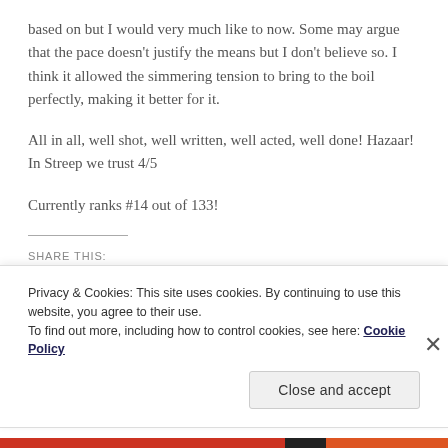based on but I would very much like to now. Some may argue that the pace doesn't justify the means but I don't believe so. I think it allowed the simmering tension to bring to the boil perfectly, making it better for it.
All in all, well shot, well written, well acted, well done! Hazaar! In Streep we trust 4/5
Currently ranks #14 out of 133!
SHARE THIS:
Privacy & Cookies: This site uses cookies. By continuing to use this website, you agree to their use.
To find out more, including how to control cookies, see here: Cookie Policy
Close and accept